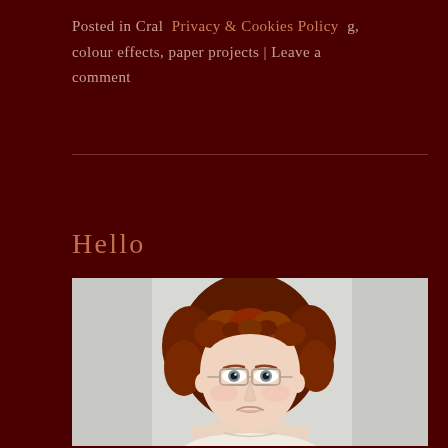Posted in Cral  Privacy & Cookies Policy  g, colour effects, paper projects | Leave a comment
[Figure (photo): Portrait photo of a woman with short curly red hair, glasses, light complexion, wearing a light-colored top, against a grey background]